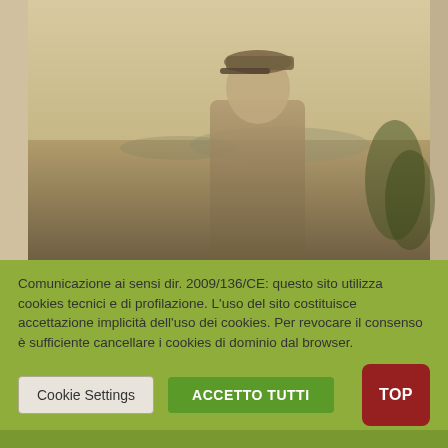[Figure (photo): Sepia-toned vintage photograph of a man in military uniform wearing a cap, standing outdoors with a landscape and trees visible in the background.]
Comunicazione ai sensi dir. 2009/136/CE: questo sito utilizza cookies tecnici e di profilazione. L'uso del sito costituisce accettazione implicità dell'uso dei cookies. Per revocare il consenso è sufficiente cancellare i cookies di dominio dal browser.